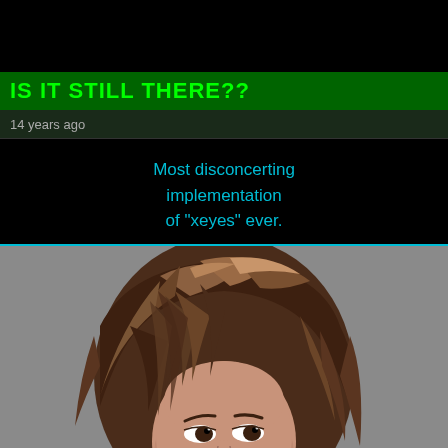IS IT STILL THERE??
14 years ago
Most disconcerting implementation of "xeyes" ever.
[Figure (photo): Close-up portrait photo of an Asian woman with layered brown hair with highlights, looking slightly to the side with a subtle expression, against a gray background.]